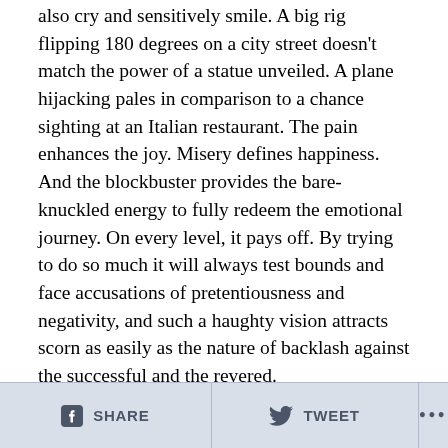also cry and sensitively smile. A big rig flipping 180 degrees on a city street doesn't match the power of a statue unveiled. A plane hijacking pales in comparison to a chance sighting at an Italian restaurant. The pain enhances the joy. Misery defines happiness. And the blockbuster provides the bare-knuckled energy to fully redeem the emotional journey. On every level, it pays off. By trying to do so much it will always test bounds and face accusations of pretentiousness and negativity, and such a haughty vision attracts scorn as easily as the nature of backlash against the successful and the revered.
SHARE   TWEET   ...